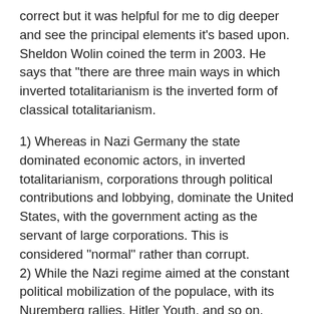correct but it was helpful for me to dig deeper and see the principal elements it’s based upon. Sheldon Wolin coined the term in 2003. He says that “there are three main ways in which inverted totalitarianism is the inverted form of classical totalitarianism.
1) Whereas in Nazi Germany the state dominated economic actors, in inverted totalitarianism, corporations through political contributions and lobbying, dominate the United States, with the government acting as the servant of large corporations. This is considered “normal” rather than corrupt.
2) While the Nazi regime aimed at the constant political mobilization of the populace, with its Nuremberg rallies, Hitler Youth, and so on, inverted totalitarianism aims for the mass of the populace to be in a persistent state of political apathy. The only type of political activity expected or desired from the citizenry is voting. Low electoral turnouts are favorably received as an indication that the bulk of the populace has given up hope that the government